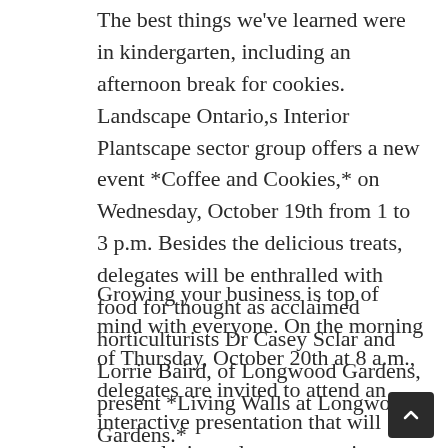The best things we've learned were in kindergarten, including an afternoon break for cookies. Landscape Ontario,s Interior Plantscape sector group offers a new event *Coffee and Cookies,* on Wednesday, October 19th from 1 to 3 p.m. Besides the delicious treats, delegates will be enthralled with food for thought as acclaimed horticulturists Dr Casey Sclar and Lorrie Baird, of Longwood Gardens, present *Living Walls at Longwood Gardens.*
Growing your business is top of mind with everyone. On the morning of Thursday, October 20th at 8 a.m., delegates are invited to attend an interactive presentation that will cover closing sales, overcoming objections and how to build value instead of price chopping. The 3rd annual Landscape Designers Breakfast and Networking Event will feature Rory Sheehan, of Positive Strategies Inc, as he shares